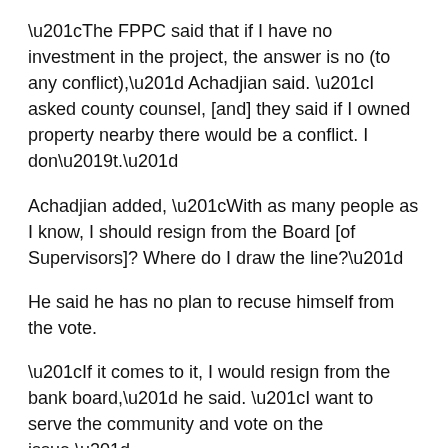“The FPPC said that if I have no investment in the project, the answer is no (to any conflict),” Achadjian said. “I asked county counsel, [and] they said if I owned property nearby there would be a conflict. I don’t.”
Achadjian added, “With as many people as I know, I should resign from the Board [of Supervisors]? Where do I draw the line?”
He said he has no plan to recuse himself from the vote.
“If it comes to it, I would resign from the bank board,” he said. “I want to serve the community and vote on the issue.”
Achadjian has recused himself in the past from votes he thought would place him in conflict because businesses owned by him, including a service station, might benefit financially.
A homeowners’ association officer said he sees a problem